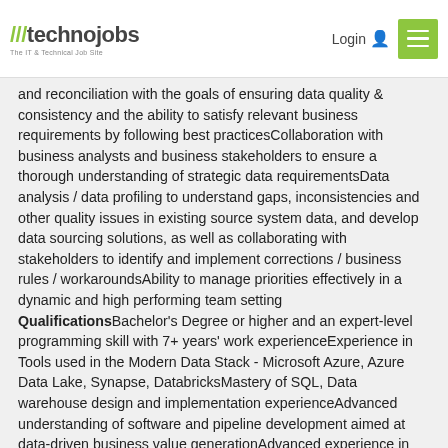technojobs - The IT & Technical Job Site | Login
and reconciliation with the goals of ensuring data quality & consistency and the ability to satisfy relevant business requirements by following best practicesCollaboration with business analysts and business stakeholders to ensure a thorough understanding of strategic data requirementsData analysis / data profiling to understand gaps, inconsistencies and other quality issues in existing source system data, and develop data sourcing solutions, as well as collaborating with stakeholders to identify and implement corrections / business rules / workaroundsAbility to manage priorities effectively in a dynamic and high performing team setting QualificationsBachelor's Degree or higher and an expert-level programming skill with 7+ years' work experienceExperience in Tools used in the Modern Data Stack - Microsoft Azure, Azure Data Lake, Synapse, DatabricksMastery of SQL, Data warehouse design and implementation experienceAdvanced understanding of software and pipeline development aimed at data-driven business value generationAdvanced experience in development, construction, testing, and maintenance of data